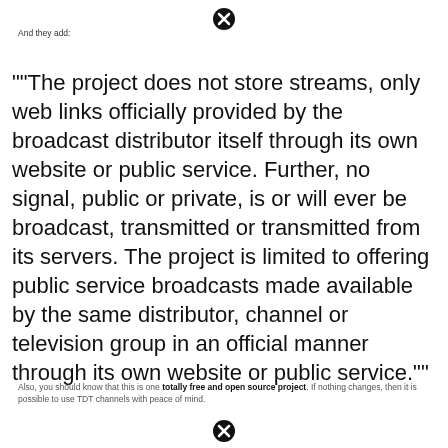[Figure (other): Close/X button icon at top center]
And they add:
""The project does not store streams, only web links officially provided by the broadcast distributor itself through its own website or public service. Further, no signal, public or private, is or will ever be broadcast, transmitted or transmitted from its servers. The project is limited to offering public service broadcasts made available by the same distributor, channel or television group in an official manner through its own website or public service.""
Also, you should know that this is one totally free and open source project. If nothing changes, then it is possible to use TDT channels with peace of mind.
[Figure (other): Close/X button icon at bottom center]